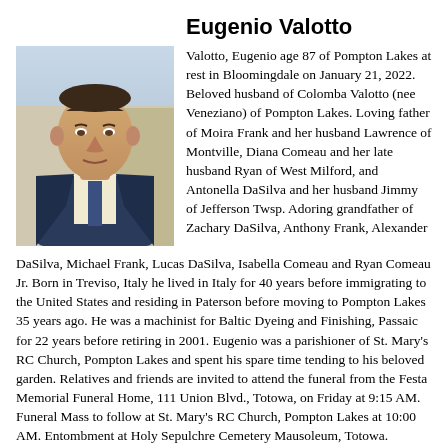Eugenio Valotto
[Figure (photo): Portrait photograph of Eugenio Valotto, an elderly man in a suit and tie]
Valotto, Eugenio age 87 of Pompton Lakes at rest in Bloomingdale on January 21, 2022. Beloved husband of Colomba Valotto (nee Veneziano) of Pompton Lakes. Loving father of Moira Frank and her husband Lawrence of Montville, Diana Comeau and her late husband Ryan of West Milford, and Antonella DaSilva and her husband Jimmy of Jefferson Twsp. Adoring grandfather of Zachary DaSilva, Anthony Frank, Alexander DaSilva, Michael Frank, Lucas DaSilva, Isabella Comeau and Ryan Comeau Jr. Born in Treviso, Italy he lived in Italy for 40 years before immigrating to the United States and residing in Paterson before moving to Pompton Lakes 35 years ago. He was a machinist for Baltic Dyeing and Finishing, Passaic for 22 years before retiring in 2001. Eugenio was a parishioner of St. Mary's RC Church, Pompton Lakes and spent his spare time tending to his beloved garden. Relatives and friends are invited to attend the funeral from the Festa Memorial Funeral Home, 111 Union Blvd., Totowa, on Friday at 9:15 AM. Funeral Mass to follow at St. Mary's RC Church, Pompton Lakes at 10:00 AM. Entombment at Holy Sepulchre Cemetery Mausoleum, Totowa. Friends may visit